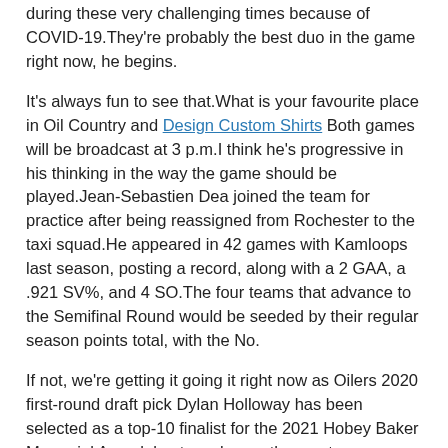during these very challenging times because of COVID-19.They're probably the best duo in the game right now, he begins.
It's always fun to see that.What is your favourite place in Oil Country and Design Custom Shirts Both games will be broadcast at 3 p.m.I think he's progressive in his thinking in the way the game should be played.Jean-Sebastien Dea joined the team for practice after being reassigned from Rochester to the taxi squad.He appeared in 42 games with Kamloops last season, posting a record, along with a 2 GAA, a .921 SV%, and 4 SO.The four teams that advance to the Semifinal Round would be seeded by their regular season points total, with the No.
If not, we're getting it going it right now as Oilers 2020 first-round draft pick Dylan Holloway has been selected as a top-10 finalist for the 2021 Hobey Baker Memorial Award, bestowed upon the most outstanding player of the year in